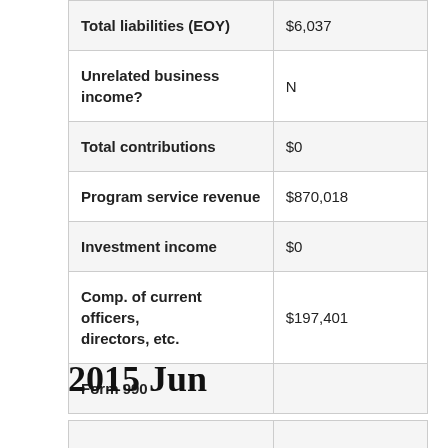| Field | Value |
| --- | --- |
| Total liabilities (EOY) | $6,037 |
| Unrelated business income? | N |
| Total contributions | $0 |
| Program service revenue | $870,018 |
| Investment income | $0 |
| Comp. of current officers, directors, etc. | $197,401 |
| Form 990 |  |
2015 Jun
|  |  |